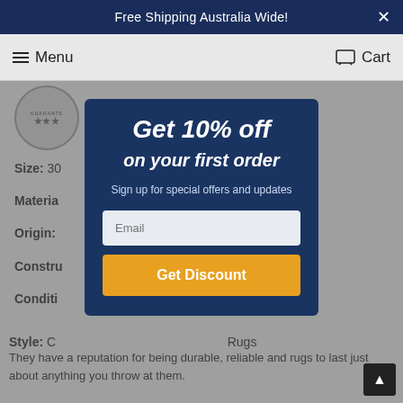Free Shipping Australia Wide!
Menu   Cart
Size: 30...
Material:
Origin:
Construction:
Condition:
Get 10% off
on your first order
Sign up for special offers and updates
Style: C... Rugs
They have a reputation for being durable, reliable and rugs to last just about anything you throw at them.